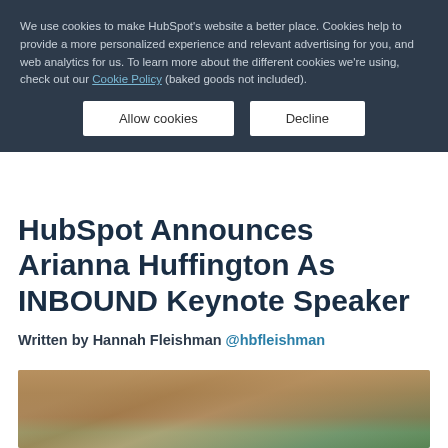We use cookies to make HubSpot's website a better place. Cookies help to provide a more personalized experience and relevant advertising for you, and web analytics for us. To learn more about the different cookies we're using, check out our Cookie Policy (baked goods not included).
Allow cookies | Decline
HubSpot Announces Arianna Huffington As INBOUND Keynote Speaker
Written by Hannah Fleishman @hbfleishman
[Figure (photo): Photo of Arianna Huffington, partially visible, showing head and upper body against a stone wall background with greenery]